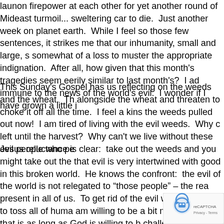launon firepower at each other for yet another round of Mideast turmoil... sweltering car to die. Just another week on planet earth. While I feel so those few sentences, it strikes me that our inhumanity, small and large, s somewhat of a loss to muster the appropriate indignation. After all, how given that this month's tragedies seem eerily similar to last month's? I ad immune to the news of the world's evil. I wonder if I have grown a little i
This Sunday's Gospel has us reflecting on the weeds and the wheat. Th alongside the wheat and threaten to choke it off all the time. I feel a kins the weeds pulled out now! I am tired of living with the evil weeds. Why c left until the harvest? Why can't we live without these evil people who pe
Jesus reluctance is clear: take out the weeds and you might take out the that evil is very intertwined with good in this broken world. He knows the confront: the evil of the world is not relegated to "those people" – the rea present in all of us. To get rid of the evil weeds now is to toss all of huma am willing to be a bit more merciful – that is as long as God is willing to b challenge of the week's madness is not to think myself immune. There b course I cannot fathom aiming a rocket launcher at a passenger... missiles. Evil is evil – it's all a matter of degree. Given that I take a moment today to pray for the forgiveness of the others worse evils this day. And when the final harvest comes, I pray that the e
[Figure (other): reCAPTCHA badge with robot icon in bottom right corner, showing Privacy and Terms text]